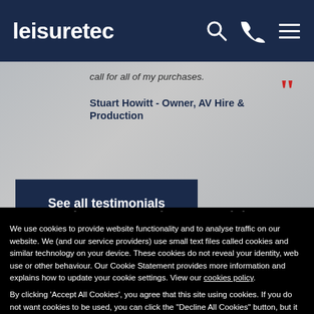leisuretec
call for all of my purchases.
Stuart Howitt - Owner, AV Hire & Production
See all testimonials
We use cookies to provide website functionality and to analyse traffic on our website. We (and our service providers) use small text files called cookies and similar technology on your device. These cookies do not reveal your identity, web use or other behaviour. Our Cookie Statement provides more information and explains how to update your cookie settings. View our cookies policy.
By clicking 'Accept All Cookies', you agree that this site using cookies. If you do not want cookies to be used, you can click the "Decline All Cookies" button, but it may have an impact on the way you experience our website and others.
Accept All Cookies
Decline All Cookies
the conversation on social
@leisuretec